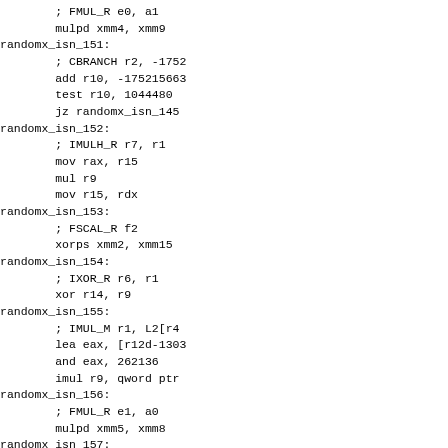; FMUL_R e0, a1
        mulpd xmm4, xmm9
randomx_isn_151:
        ; CBRANCH r2, -1752
        add r10, -175215663
        test r10, 1044480
        jz randomx_isn_145
randomx_isn_152:
        ; IMULH_R r7, r1
        mov rax, r15
        mul r9
        mov r15, rdx
randomx_isn_153:
        ; FSCAL_R f2
        xorps xmm2, xmm15
randomx_isn_154:
        ; IXOR_R r6, r1
        xor r14, r9
randomx_isn_155:
        ; IMUL_M r1, L2[r4
        lea eax, [r12d-1303
        and eax, 262136
        imul r9, qword ptr
randomx_isn_156:
        ; FMUL_R e1, a0
        mulpd xmm5, xmm8
randomx_isn_157:
        ; FADD_M f3, L1[r7
        lea eax, [r15d-1363
        and eax, 16376
        cvtdq2pd xmm12, qw
        addpd xmm3, xmm12
randomx_isn_158: